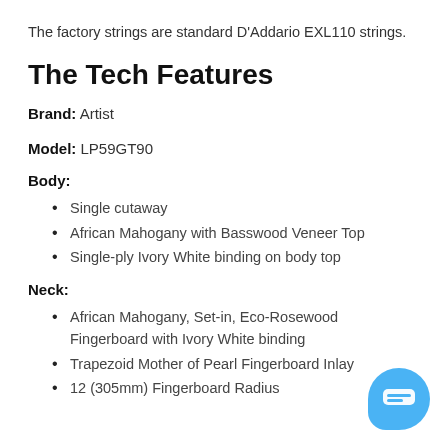The factory strings are standard D'Addario EXL110 strings.
The Tech Features
Brand: Artist
Model: LP59GT90
Body:
Single cutaway
African Mahogany with Basswood Veneer Top
Single-ply Ivory White binding on body top
Neck:
African Mahogany, Set-in, Eco-Rosewood Fingerboard with Ivory White binding
Trapezoid Mother of Pearl Fingerboard Inlay
12 (305mm) Fingerboard Radius